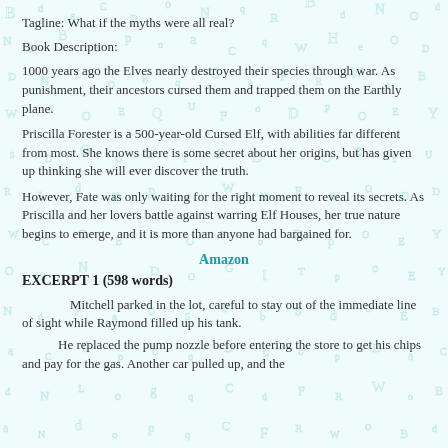Tagline: What if the myths were all real?
Book Description:
1000 years ago the Elves nearly destroyed their species through war. As punishment, their ancestors cursed them and trapped them on the Earthly plane.
Priscilla Forester is a 500-year-old Cursed Elf, with abilities far different from most. She knows there is some secret about her origins, but has given up thinking she will ever discover the truth.
However, Fate was only waiting for the right moment to reveal its secrets. As Priscilla and her lovers battle against warring Elf Houses, her true nature begins to emerge, and it is more than anyone had bargained for.
Amazon
EXCERPT 1 (598 words)
Mitchell parked in the lot, careful to stay out of the immediate line of sight while Raymond filled up his tank.
He replaced the pump nozzle before entering the store to get his chips and pay for the gas. Another car pulled up, and the